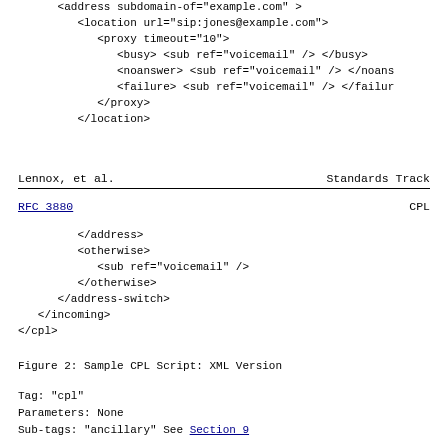<address subdomain-of="example.com">
         <location url="sip:jones@example.com">
            <proxy timeout="10">
               <busy> <sub ref="voicemail" /> </busy>
               <noanswer> <sub ref="voicemail" /> </noans
               <failure> <sub ref="voicemail" /> </failur
Lennox, et al.                    Standards Track
RFC 3880                                            CPL
</address>
         <otherwise>
            <sub ref="voicemail" />
         </otherwise>
      </address-switch>
   </incoming>
</cpl>
Figure 2: Sample CPL Script: XML Version
Tag:  "cpl"
   Parameters:  None
     Sub-tags:  "ancillary"  See Section 9